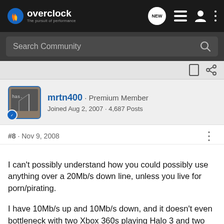overclock · The pursuit of performance
Search Community
mrtn400 · Premium Member
Joined Aug 2, 2007 · 4,687 Posts
#8 · Nov 9, 2008
I can't possibly understand how you could possibly use anything over a 20Mb/s down line, unless you live for porn/pirating.

I have 10Mb/s up and 10Mb/s down, and it doesn't even bottleneck with two Xbox 360s playing Halo 3 and two computers playing CS:S in the same 44 slot server, all at once.